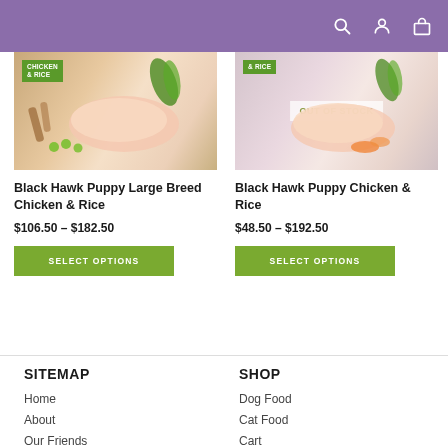Header with search, account, and cart icons
[Figure (photo): Product image for Black Hawk Puppy Large Breed Chicken & Rice with green badge showing CHICKEN & RICE]
Black Hawk Puppy Large Breed Chicken & Rice
$106.50 – $182.50
SELECT OPTIONS
[Figure (photo): Product image for Black Hawk Puppy Chicken & Rice with OUT OF STOCK overlay and green CHICKEN & RICE badge]
Black Hawk Puppy Chicken & Rice
$48.50 – $192.50
SELECT OPTIONS
SITEMAP
Home
About
Our Friends
SHOP
Dog Food
Cat Food
Cart